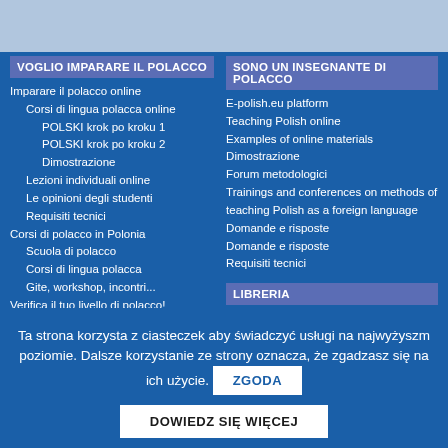VOGLIO IMPARARE IL POLACCO
Imparare il polacco online
Corsi di lingua polacca online
POLSKI krok po kroku 1
POLSKI krok po kroku 2
Dimostrazione
Lezioni individuali online
Le opinioni degli studenti
Requisiti tecnici
Corsi di polacco in Polonia
Scuola di polacco
Corsi di lingua polacca
Gite, workshop, incontri...
Verifica il tuo livello di polacco!
Forum della lingua polacca
SONO UN INSEGNANTE DI POLACCO
E-polish.eu platform
Teaching Polish online
Examples of online materials
Dimostrazione
Forum metodologici
Trainings and conferences on methods of teaching Polish as a foreign language
Domande e risposte
Domande e risposte
Requisiti tecnici
LIBRERIA
Libreria
Ta strona korzysta z ciasteczek aby świadczyć usługi na najwyżyszm poziomie. Dalsze korzystanie ze strony oznacza, że zgadzasz się na ich użycie.
ZGODA
DOWIEDZ SIĘ WIĘCEJ